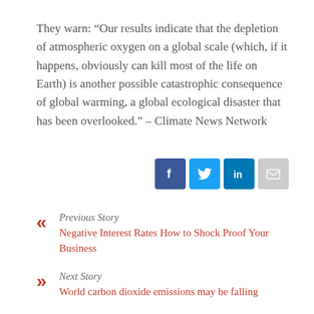They warn: “Our results indicate that the depletion of atmospheric oxygen on a global scale (which, if it happens, obviously can kill most of the life on Earth) is another possible catastrophic consequence of global warming, a global ecological disaster that has been overlooked.” – Climate News Network
[Figure (other): Social media sharing icons: Facebook, Twitter, LinkedIn, Email]
Previous Story
Negative Interest Rates How to Shock Proof Your Business
Next Story
World carbon dioxide emissions may be falling